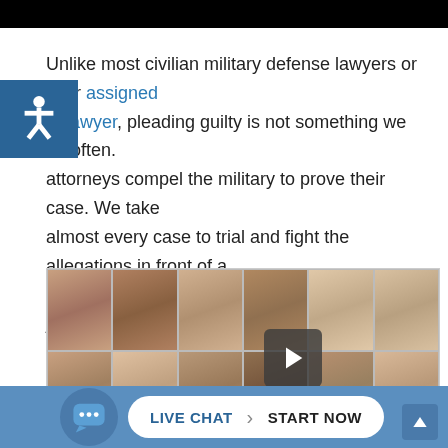Unlike most civilian military defense lawyers or your assigned military lawyer, pleading guilty is not something we do often. Our attorneys compel the military to prove their case. We take almost every case to trial and fight the allegations in front of a jury.
[Figure (photo): Grid of mugshot-style photos of various individuals, with a video play button overlay in the center of the grid.]
LIVE CHAT | START NOW